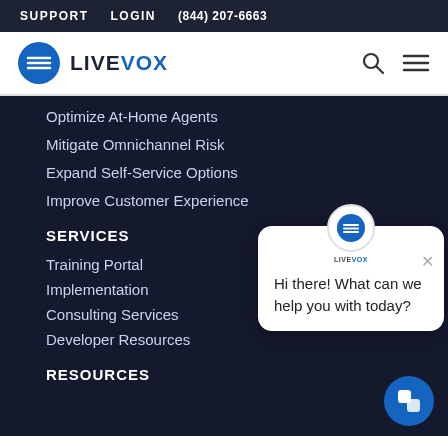SUPPORT   LOGIN   (844) 207-6663
[Figure (logo): LiveVox logo with blue circle icon and LIVEVOX text]
Optimize At-Home Agents
Mitigate Omnichannel Risk
Expand Self-Service Options
Improve Customer Experience
SERVICES
Training Portal
Implementation
Consulting Services
Developer Resources
[Figure (screenshot): LiveVox chat popup with message 'Hi there! What can we help you with today?']
RESOURCES